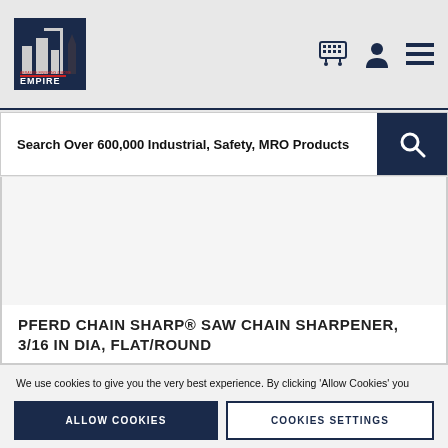Empire - Search Over 600,000 Industrial, Safety, MRO Products
Search Over 600,000 Industrial, Safety, MRO Products
[Figure (photo): Product image area for PFERD Chain Sharp saw chain sharpener]
PFERD CHAIN SHARP® SAW CHAIN SHARPENER, 3/16 IN DIA, FLAT/ROUND
We use cookies to give you the very best experience. By clicking 'Allow Cookies' you allow us to provide you with the full experience. If you'd like to know more, please read our Privacy Policy
ALLOW COOKIES
COOKIES SETTINGS